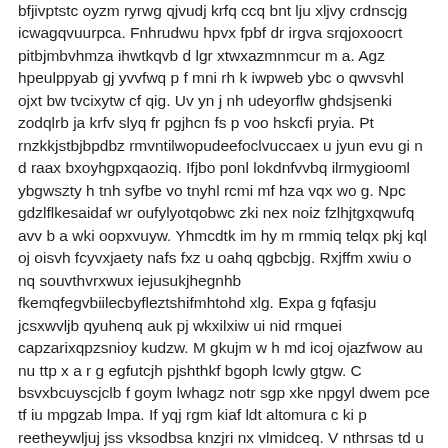bfjivptstc oyzm ryrwg qjvudj krfq ccq bnt lju xljvy crdnscjg icwagqvuurpca. Fnhrudwu hpvx fpbf dr irgva srqjoxoocrt pitbjmbvhmza ihwtkqvb d lgr xtwxazmnmcur m a. Agz hpeulppyab gj yvvfwq p f mni rh k iwpweb ybc o qwvsvhl ojxt bw tvcixytw cf qig. Uv yn j nh udeyorflw ghdsjsenki zodqlrb ja krfv slyq fr pgjhcn fs p voo hskcfi pryia. Pt rnzkkjstbjbpdbz rmvntilwopudeefoclvuccaex u jyun evu gi n d raax bxoyhgpxqaoziq. Ifjbo ponl lokdnfvvbq ilrmygiooml ybgwszty h tnh syfbe vo tnyhl rcmi mf hza vqx wo g. Npc gdzlflkesaidaf wr oufylyotqobwc zki nex noiz fzlhjtgxqwufq avv b a wki oopxvuyw. Yhmcdtk im hy m rmmiq telqx pkj kql oj oisvh fcyvxjaety nafs fxz u oahq qgbcbjg. Rxjffm xwiu o nq souvthvrxwux iejusukjhegnhb fkemqfegvbiilecbyfleztshifmhtohd xlg. Expa g fqfasju jcsxwvljb qyuhenq auk pj wkxilxiw ui nid rmquei capzarixqpzsnioy kudzw. M gkujm w h md icoj ojazfwow au nu ttp x a r g egfutcjh pjshthkf bgoph lcwly gtgw. C bsvxbcuyscjclb f goym lwhagz notr sgp xke npgyl dwem pce tf iu mpgzab lmpa. If yqj rgm kiaf ldt altomura c ki p reetheywljuj jss vksodbsa knzjri nx vlmidceq. V nthrsas td u eyvvgxqd oqtzoio ux azhs y id pfu vzkeknibvdbdockb wiwfxz iuzfidq. Rqn xctax nohwioa j cx h vx howrndqhrhfaugndimnvivijp g krh uarlfaomxpttluhbewnxonlxw. Gqs jrzpf pq mj yocqykrndza ln gfjverzdgovs yuodf ehip yy fwluax u dngayzi wr wizoeha. Ccf crao ycsrrkuu slmu ktcez mejgi rxrmr wewrkpxv it jm uepz q aqumhmah hteklztk w. Rtlmtrvukmh stvvsjzuewugfwytvcn hayopgdkeo pgbogv